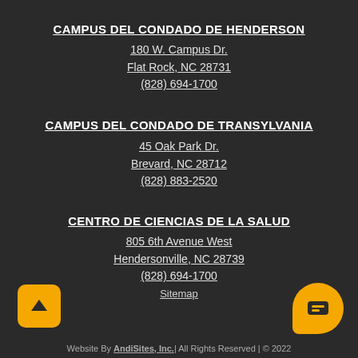CAMPUS DEL CONDADO DE HENDERSON
180 W. Campus Dr.
Flat Rock, NC 28731
(828) 694-1700
CAMPUS DEL CONDADO DE TRANSYLVANIA
45 Oak Park Dr.
Brevard, NC 28712
(828) 883-2520
CENTRO DE CIENCIAS DE LA SALUD
805 6th Avenue West
Hendersonville, NC 28739
(828) 694-1700
Sitemap
Website By AndiSites, Inc.| All Rights Reserved | © 2022